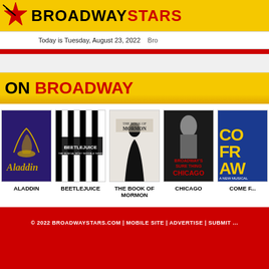BROADWAYSTARS
Today is Tuesday, August 23, 2022
ON BROADWAY
[Figure (illustration): Aladdin Broadway show poster - dark blue/purple background with golden lamp motif and stylized text]
ALADDIN
[Figure (illustration): Beetlejuice Broadway show poster - black and white vertical stripes with BEETLEJUICE text]
BEETLEJUICE
[Figure (illustration): The Book of Mormon Broadway show poster - light background with figure and show title]
THE BOOK OF MORMON
[Figure (illustration): Chicago Broadway show poster - dark background with blonde woman and red CHICAGO text, Broadway's Sure Thing]
CHICAGO
[Figure (illustration): Come From Away Broadway show poster - blue background with partial yellow text]
COME F...
© 2022 BROADWAYSTARS.COM | MOBILE SITE | ADVERTISE | SUBMIT ...